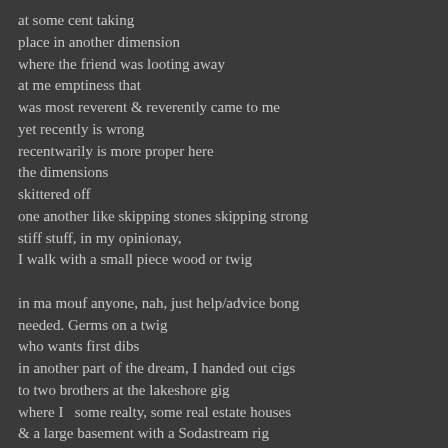at some cent taking
place in another dimension
where the friend was looting away
at me emptiness that
was most reverent & reverently came to me
yet recently is wrong
recentwarily is more proper here
the dimensions
skittered off
one another like skipping stones skipping strong
stiff stuff, in my opinionay,
I walk with a small piece wood or twig

in ma mouf anyone, nah, just help/advice bong
needed. Germs on a twig
who wants first dibs
in another part of the dream, I handed out cigs
to two brothers at the lakeshore gig
where I  some realty, some real estate houses
& a large basement with a Sodastream rig
full of cigarattes & boner pet coupon tickets
in another